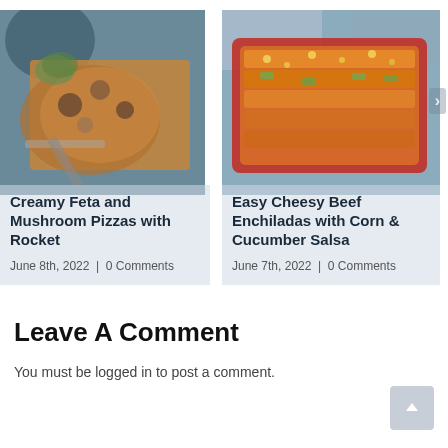[Figure (photo): Overhead photo of Creamy Feta and Mushroom Pizzas with Rocket on a wooden board]
Creamy Feta and Mushroom Pizzas with Rocket
June 8th, 2022 | 0 Comments
[Figure (photo): Overhead photo of Easy Cheesy Beef Enchiladas with Corn & Cucumber Salsa in a red baking dish]
Easy Cheesy Beef Enchiladas with Corn & Cucumber Salsa
June 7th, 2022 | 0 Comments
Leave A Comment
You must be logged in to post a comment.